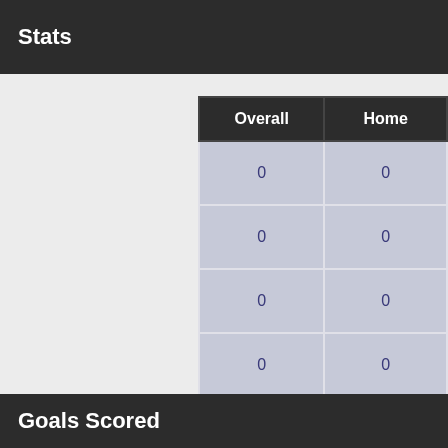Stats
| Overall | Home |
| --- | --- |
| 0 | 0 |
| 0 | 0 |
| 0 | 0 |
| 0 | 0 |
| 0% | 0% |
| 0 | 0 |
| 0 | 0 |
| 0 | 0 |
Goals Scored